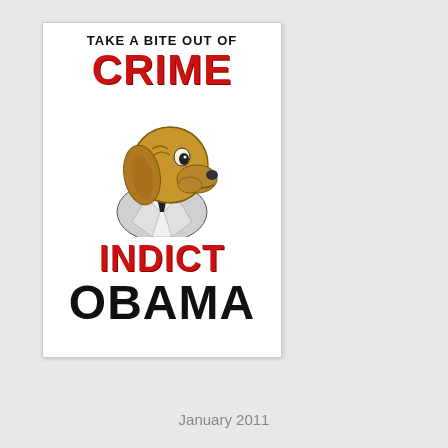[Figure (illustration): A poster-style illustration reading 'TAKE A BITE OUT OF CRIME' at the top (black text for 'TAKE A BITE OUT OF', red bold text for 'CRIME'), a cartoon bloodhound dog illustration in the center, then 'INDICT' in red bold text and 'OBAMA' in large black bold text at the bottom.]
January 2011